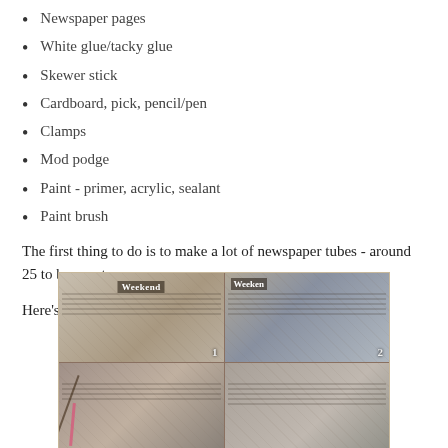Newspaper pages
White glue/tacky glue
Skewer stick
Cardboard, pick, pencil/pen
Clamps
Mod podge
Paint - primer, acrylic, sealant
Paint brush
The first thing to do is to make a lot of newspaper tubes - around 25 to be exact.
Here's a pictorial of how to:
[Figure (photo): A 2x2 grid of photos showing newspaper pages being used to make tubes, with numbers 1 and 2 visible in the top row cells. The photos show newspaper pages laid flat and being rolled with a skewer stick.]